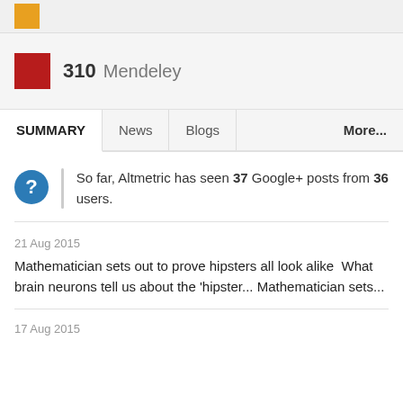310 Mendeley
SUMMARY   News   Blogs   More...
So far, Altmetric has seen 37 Google+ posts from 36 users.
21 Aug 2015
Mathematician sets out to prove hipsters all look alike  What brain neurons tell us about the 'hipster... Mathematician sets...
17 Aug 2015